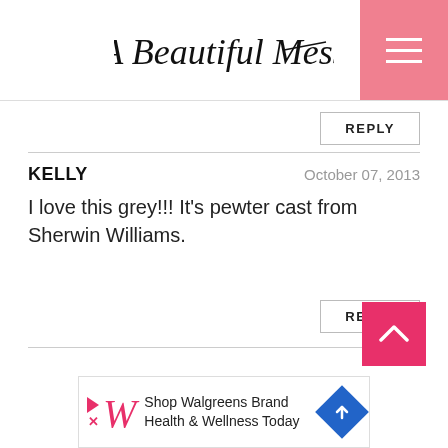A Beautiful Mess
REPLY
KELLY — October 07, 2013
I love this grey!!! It's pewter cast from Sherwin Williams.
REPLY
[Figure (other): Back to top button arrow]
[Figure (other): Walgreens advertisement banner: Shop Walgreens Brand Health & Wellness Today]